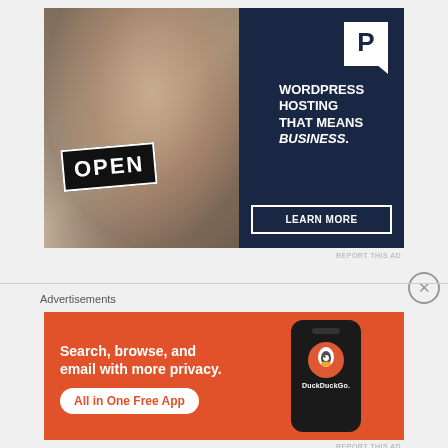[Figure (infographic): Pressable WordPress hosting advertisement. Left half shows a woman holding an OPEN sign. Right half has dark navy background with Pressable P logo, text 'WORDPRESS HOSTING THAT MEANS BUSINESS.' and a 'LEARN MORE' button.]
REPORT THIS AD
[Figure (infographic): DuckDuckGo advertisement on orange-red background. Text: 'Search, browse, and email with more privacy. All in One Free App' with DuckDuckGo logo on a phone mockup.]
Advertisements
REPORT THIS AD